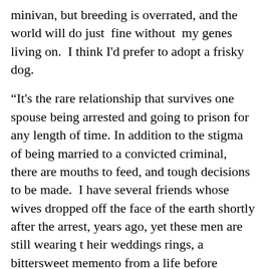minivan, but breeding is overrated, and the world will do just fine without my genes living on. I think I'd prefer to adopt a frisky dog.
“It's the rare relationship that survives one spouse being arrested and going to prison for any length of time. In addition to the stigma of being married to a convicted criminal, there are mouths to feed, and tough decisions to be made. I have several friends whose wives dropped off the face of the earth shortly after the arrest, years ago, yet these men are still wearing t heir weddings rings, a bittersweet memento from a life before everything came unglued.
“On the other hand, marriages that begin with one partner in prison tend to be extremely resilient. I'll have to proceed anecdotally, and you’ll have to half rely on me as being a competent observer: the divorce rate is considerably lower than the sixty percent of couples in the